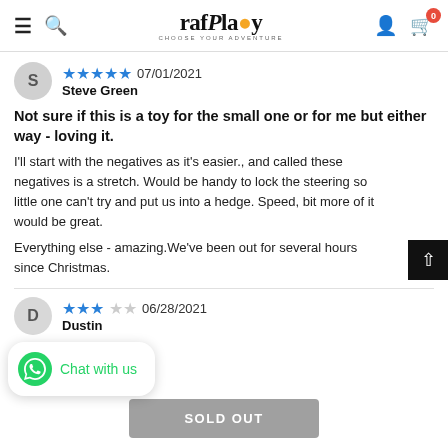raf Play - CHOOSE YOUR ADVENTURE
S · ★★★★★ 07/01/2021 · Steve Green
Not sure if this is a toy for the small one or for me but either way - loving it.
I'll start with the negatives as it's easier., and called these negatives is a stretch. Would be handy to lock the steering so little one can't try and put us into a hedge. Speed, bit more of it would be great.

Everything else - amazing.We've been out for several hours since Christmas.
D · ★★★☆☆ 06/28/2021 · Dustin
Chat with us
SOLD OUT